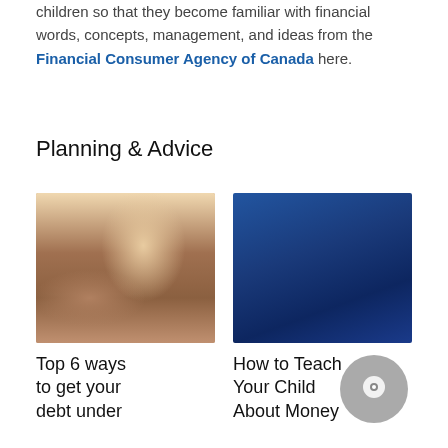Learn more about talking about money with your children so that they become familiar with financial words, concepts, management, and ideas from the Financial Consumer Agency of Canada here.
Planning & Advice
[Figure (photo): Photo of a stressed person with head in hands sitting at a desk with a laptop and coffee cup]
[Figure (photo): Dark blue image placeholder]
Top 6 ways to get your debt under
How to Teach Your Child About Money